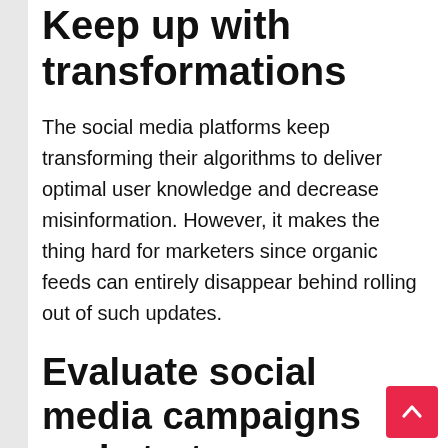Keep up with transformations
The social media platforms keep transforming their algorithms to deliver optimal user knowledge and decrease misinformation. However, it makes the thing hard for marketers since organic feeds can entirely disappear behind rolling out of such updates.
Evaluate social media campaigns and strategy
A white label mechanism is not only an extension of your group, it is also an accountable and reliable member in progress. It will present you with worthwhile consultations